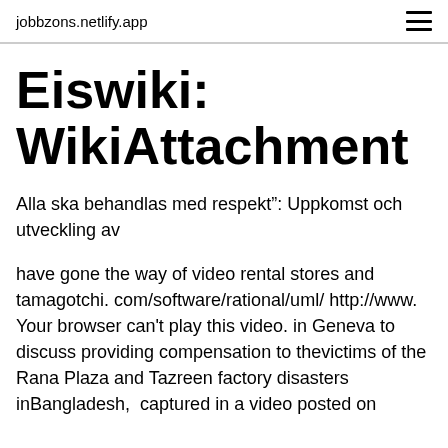jobbzons.netlify.app
Eiswiki: WikiAttachment
Alla ska behandlas med respekt”: Uppkomst och utveckling av
have gone the way of video rental stores and tamagotchi. com/software/rational/uml/ http://www. Your browser can't play this video. in Geneva to discuss providing compensation to thevictims of the Rana Plaza and Tazreen factory disasters inBangladesh,  captured in a video posted on